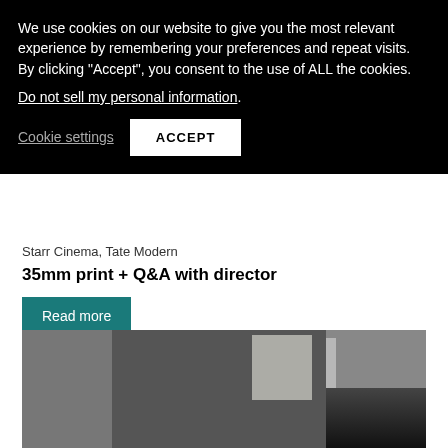We use cookies on our website to give you the most relevant experience by remembering your preferences and repeat visits. By clicking "Accept", you consent to the use of ALL the cookies. Do not sell my personal information.
Cookie settings  ACCEPT
Starr Cinema, Tate Modern
35mm print + Q&A with director
Read more
[Figure (photo): Black and white photograph of a person, likely seated near a window, shot from above at an angle. Low-lit interior scene.]